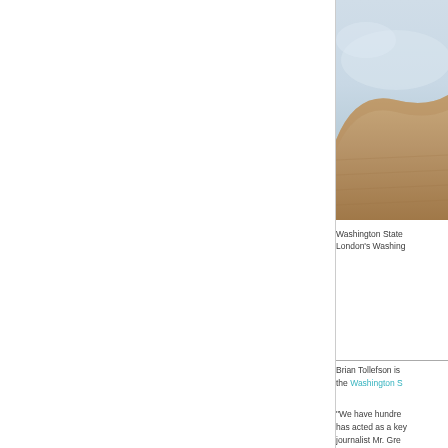[Figure (photo): Landscape photo showing sandy/earthy terrain in foreground with pale sky above, partially cropped on right side of page]
Washington State London's Washing
Brian Tollefson is the Washington S
“We have hundre has acted as a key journalist Mr. Gre